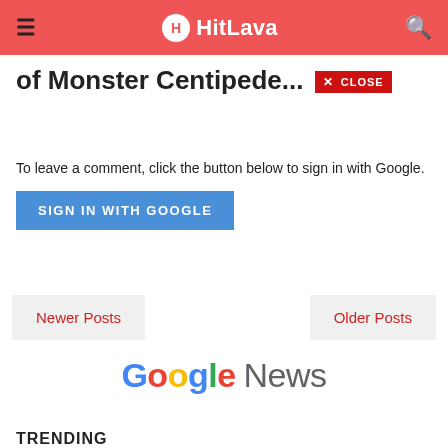HitLava
of Monster Centipede...
To leave a comment, click the button below to sign in with Google.
SIGN IN WITH GOOGLE
Newer Posts
Older Posts
[Figure (logo): Google News logo with colorful Google letters and grey News text]
TRENDING